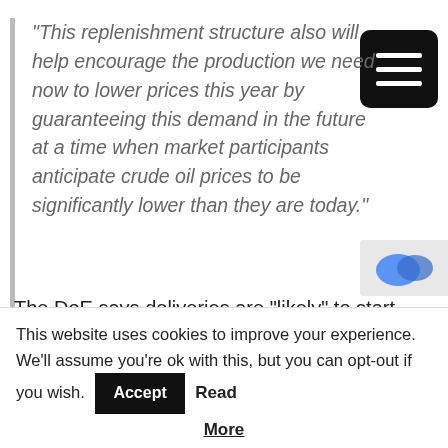“This replenishment structure also will help encourage the production we need now to lower prices this year by guaranteeing this demand in the future at a time when market participants anticipate crude oil prices to be significantly lower than they are today.”
The DoE says deliveries are “likely” to start after the 2023 fiscal year. The price for delivery in December 2023 is currently about $20 less per barrel than the current spot price.
This website uses cookies to improve your experience. We'll assume you're ok with this, but you can opt-out if you wish. Accept Read More